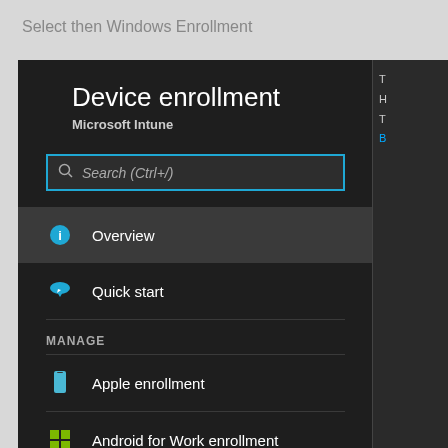Select then Windows Enrollment
[Figure (screenshot): Microsoft Intune Device enrollment panel showing a dark-themed sidebar menu with Device enrollment title, Microsoft Intune subtitle, a search box labeled Search (Ctrl+/), and menu items: Overview (selected/highlighted), Quick start, a MANAGE section with Apple enrollment, Android for Work enrollment, and Windows enrollment (highlighted in yellow/gold at the bottom). A partial right panel is visible with truncated text.]